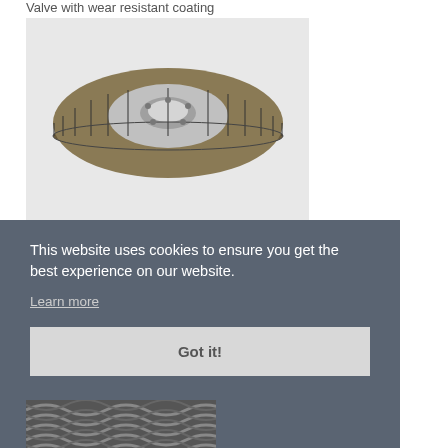Valve with wear resistant coating
[Figure (photo): Brake disc / rotor with a bronze/brown wear-resistant coated outer ring and silver metallic inner hub with cooling fins and mounting bolt holes, photographed on light grey background.]
This website uses cookies to ensure you get the best experience on our website.
Learn more
Got it!
[Figure (photo): Partial view of a braided or woven metal cable/wire rope product at the bottom of the page.]